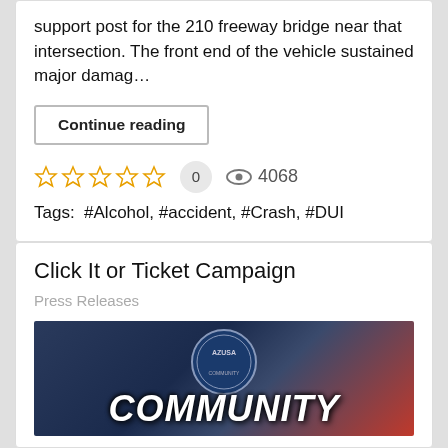support post for the 210 freeway bridge near that intersection. The front end of the vehicle sustained major damag…
Continue reading
0  4068
Tags:  #Alcohol, #accident, #Crash, #DUI
Click It or Ticket Campaign
Press Releases
[Figure (photo): Dark background image with Azusa city seal/badge at top and the word COMMUNITY in large bold white italic text at the bottom]